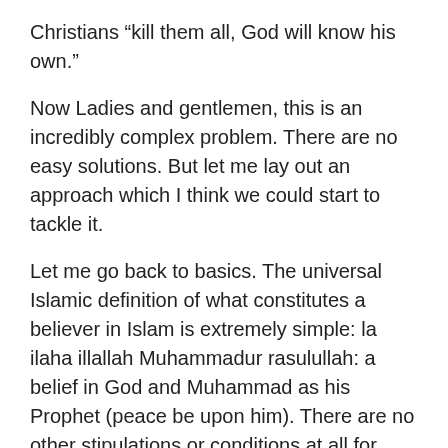Christians “kill them all, God will know his own.”
Now Ladies and gentlemen, this is an incredibly complex problem. There are no easy solutions. But let me lay out an approach which I think we could start to tackle it.
Let me go back to basics. The universal Islamic definition of what constitutes a believer in Islam is extremely simple: la ilaha illallah Muhammadur rasulullah: a belief in God and Muhammad as his Prophet (peace be upon him). There are no other stipulations or conditions at all for belief. Even at the time of the Prophet, there were differences of opinion between his Companions over his religious instructions that were interpreted in different ways, even over sacred duties such as prayers. The Prophet viewed those differences of opinions as healthy, as an inevitable diversity, and even as a blessing of, the